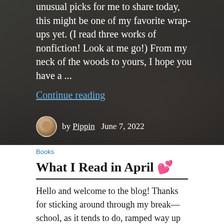[Figure (photo): A hand holding a notebook with sketches/drawings, photographed outdoors with foliage in background. White text overlaid on the dark photo reads a blog excerpt, with a 'Continue reading' link and author info (Pippin, June 7, 2022) with avatar.]
unusual picks for me to share today, this might be one of my favorite wrap-ups yet. (I read three works of nonfiction! Look at me go!) From my neck of the woods to yours, I hope you have a ...
Continue reading
by Pippin   June 7, 2022
Books
What I Read in April 💕
Hello and welcome to the blog! Thanks for sticking around through my break––school, as it tends to do, ramped way up just as I was finishing it! But, with my two-year associates degree (in science, of all things) behind me, I